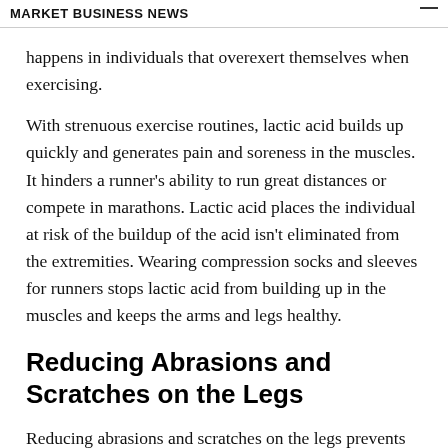MARKET BUSINESS NEWS
happens in individuals that overexert themselves when exercising.
With strenuous exercise routines, lactic acid builds up quickly and generates pain and soreness in the muscles. It hinders a runner’s ability to run great distances or compete in marathons. Lactic acid places the individual at risk of the buildup of the acid isn’t eliminated from the extremities. Wearing compression socks and sleeves for runners stops lactic acid from building up in the muscles and keeps the arms and legs healthy.
Reducing Abrasions and Scratches on the Legs
Reducing abrasions and scratches on the legs prevents infections. Runners take it to the trails when they need a change in scenery. In wooded areas, the individuals might